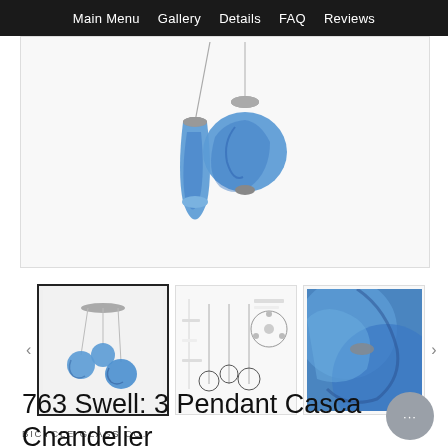Main Menu  Gallery  Details  FAQ  Reviews
[Figure (photo): Two blue art glass pendant lights hanging from silver hardware against white background]
[Figure (photo): Thumbnail 1: Three pendant cascade chandelier with blue glass globes]
[Figure (photo): Thumbnail 2: Technical line drawing/schematic of the pendant chandelier]
[Figure (photo): Thumbnail 3: Close-up of blue glass pendants]
BICYCLE GLASS CO.
763 Swell: 3 Pendant Cascade Chandelier